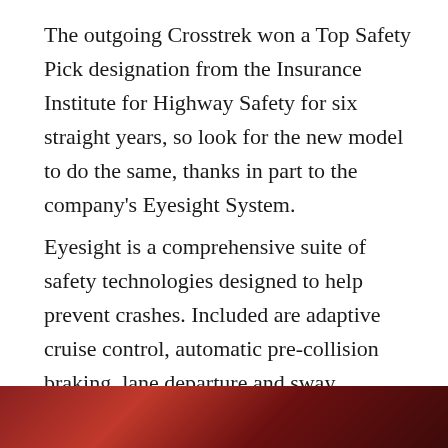The outgoing Crosstrek won a Top Safety Pick designation from the Insurance Institute for Highway Safety for six straight years, so look for the new model to do the same, thanks in part to the company's Eyesight System.
Eyesight is a comprehensive suite of safety technologies designed to help prevent crashes. Included are adaptive cruise control, automatic pre-collision braking, lane departure and sway warning, blind spot detection with lane change assist, and rear cross traffic alert. The 2018 Crosstrek also has a reverse automatic braking system that can apply the brakes if an obstacle is detected while backing up.
[Figure (photo): Partial view of a vehicle interior or exterior, dark reddish-brown tones, cropped at the bottom of the page.]